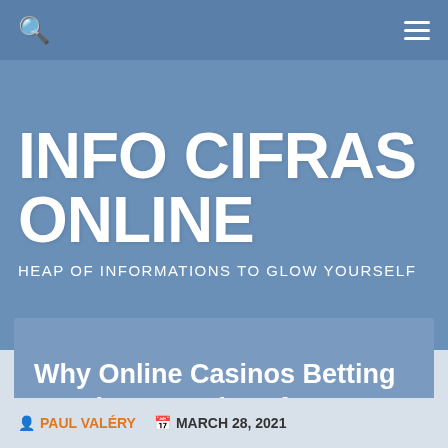INFO CIFRAS ONLINE
HEAP OF INFORMATIONS TO GLOW YOURSELF
Why Online Casinos Betting Are the Best Place for Newbie to Play?
PAUL VALÉRY   MARCH 28, 2021